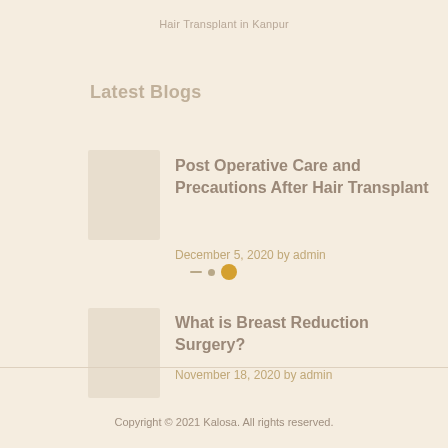Hair Transplant in Kanpur
Latest Blogs
Post Operative Care and Precautions After Hair Transplant
December 5, 2020 by admin
What is Breast Reduction Surgery?
November 18, 2020 by admin
Copyright © 2021 Kalosa. All rights reserved.